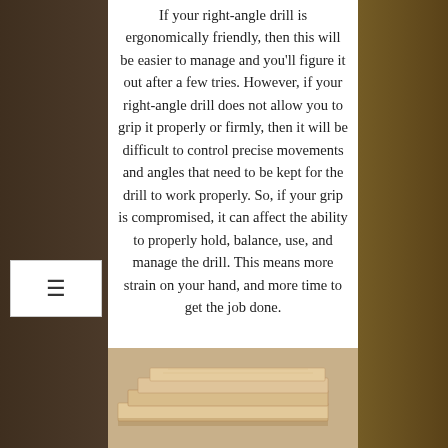If your right-angle drill is ergonomically friendly, then this will be easier to manage and you'll figure it out after a few tries. However, if your right-angle drill does not allow you to grip it properly or firmly, then it will be difficult to control precise movements and angles that need to be kept for the drill to work properly. So, if your grip is compromised, it can affect the ability to properly hold, balance, use, and manage the drill. This means more strain on your hand, and more time to get the job done.
[Figure (photo): Stacked wooden planks/boards photographed from above at an angle]